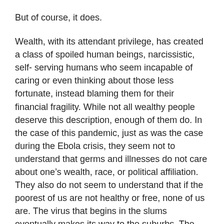But of course, it does.
Wealth, with its attendant privilege, has created a class of spoiled human beings, narcissistic, self- serving humans who seem incapable of caring or even thinking about those less fortunate, instead blaming them for their financial fragility. While not all wealthy people deserve this description, enough of them do. In the case of this pandemic, just as was the case during the Ebola crisis, they seem not to understand that germs and illnesses do not care about one’s wealth, race, or political affiliation. They also do not seem to understand that if the poorest of us are not healthy or free, none of us are. The virus that begins in the slums eventually makes its way to the suburbs. The virus doesn’t care.
It’s strange that they don’t get it. If the president